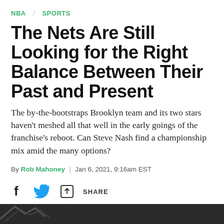NBA  SPORTS
The Nets Are Still Looking for the Right Balance Between Their Past and Present
The by-the-bootstraps Brooklyn team and its two stars haven't meshed all that well in the early goings of the franchise's reboot. Can Steve Nash find a championship mix amid the many options?
By Rob Mahoney | Jan 6, 2021, 9:16am EST
[Figure (infographic): Social share buttons: Facebook (f), Twitter (bird icon), Share (arrow icon) with text SHARE]
[Figure (photo): Dark image at the bottom of the page, partially visible]